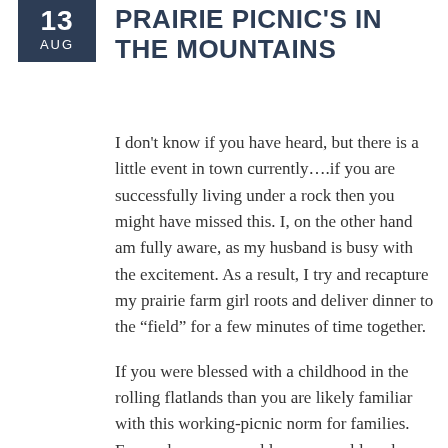13 AUG
PRAIRIE PICNIC'S IN THE MOUNTAINS
I don't know if you have heard, but there is a little event in town currently….if you are successfully living under a rock then you might have missed this. I, on the other hand am fully aware, as my husband is busy with the excitement. As a result, I try and recapture my prairie farm girl roots and deliver dinner to the “field” for a few minutes of time together.
If you were blessed with a childhood in the rolling flatlands than you are likely familiar with this working-picnic norm for families. Every chance we could, mom would pack up a scrumptious meal in ice cream buckets of sandwiches, fresh fruit, and usually either